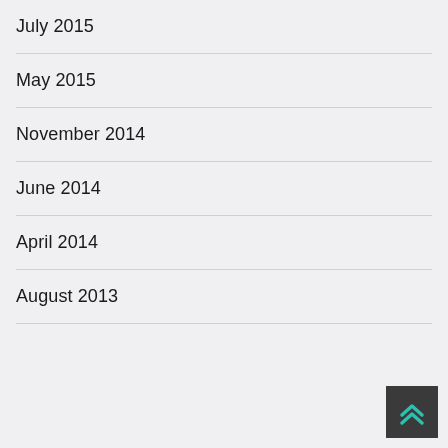July 2015
May 2015
November 2014
June 2014
April 2014
August 2013
[Figure (illustration): Dark grey square button with teal double chevron (up arrow) icon in center]